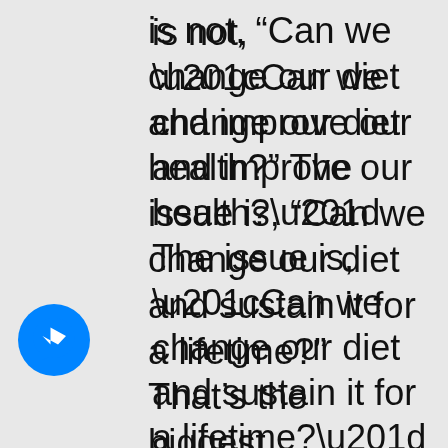is not, “Can we change our diet and improve our health?” The issue is, “Can we change our diet and sustain it for a lifetime?” That’s the biggest challenge. In integrative medicine, or even in conventional medicine, the biggest challenge is not, can you help people, can people stop
[Figure (logo): Facebook Messenger icon - blue circle with white lightning bolt/chat bubble symbol]